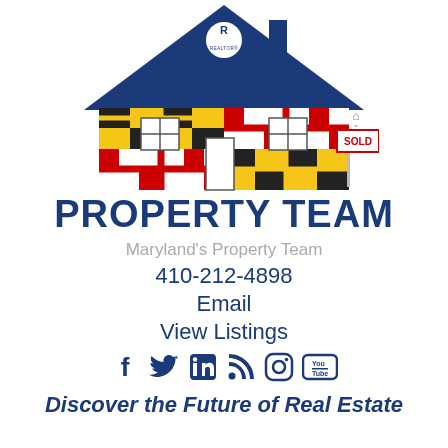[Figure (logo): Maryland Property Team logo: house shape with blue roof, Maryland state flag pattern on house body, REALTOR badge on roof, SOLD sign to the right, equal housing icon]
PROPERTY TEAM
Maryland's Property Team
410-212-4898
Email
View Listings
[Figure (illustration): Social media icons: Facebook, Twitter, LinkedIn, RSS, Instagram, YouTube]
Discover the Future of Real Estate